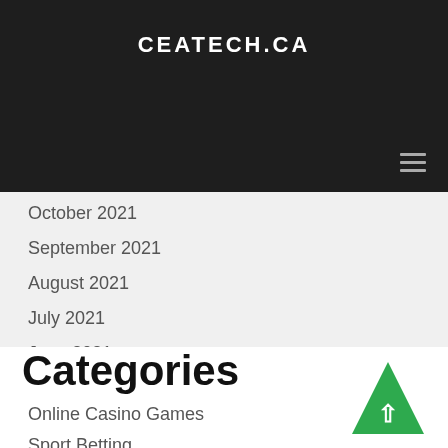CEATECH.CA
October 2021
September 2021
August 2021
July 2021
June 2021
May 2021
Categories
Online Casino Games
Sport Betting
Tips
[Figure (other): Green upward arrow triangle scroll-to-top button]